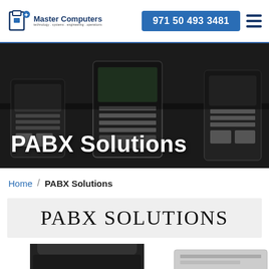Master Computers | 971 50 493 3481
[Figure (photo): Hero banner with dark background showing office PABX/desk phones arranged on a surface, with overlaid title text 'PABX Solutions' in white]
PABX Solutions
Home / PABX Solutions
PABX SOLUTIONS
[Figure (photo): Partial photo of NEC branded PABX desk phone and a PABX unit/box, cut off at bottom of page]